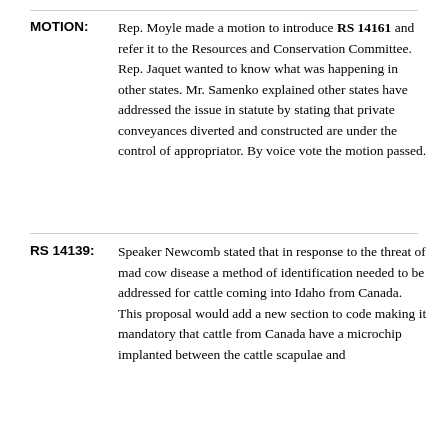MOTION: Rep. Moyle made a motion to introduce RS 14161 and refer it to the Resources and Conservation Committee. Rep. Jaquet wanted to know what was happening in other states. Mr. Samenko explained other states have addressed the issue in statute by stating that private conveyances diverted and constructed are under the control of appropriator. By voice vote the motion passed.
RS 14139: Speaker Newcomb stated that in response to the threat of mad cow disease a method of identification needed to be addressed for cattle coming into Idaho from Canada. This proposal would add a new section to code making it mandatory that cattle from Canada have a microchip implanted between the cattle scapulae and...